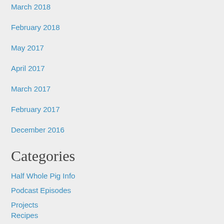March 2018
February 2018
May 2017
April 2017
March 2017
February 2017
December 2016
Categories
Half Whole Pig Info
Podcast Episodes
Projects
Recipes
Uncategorized